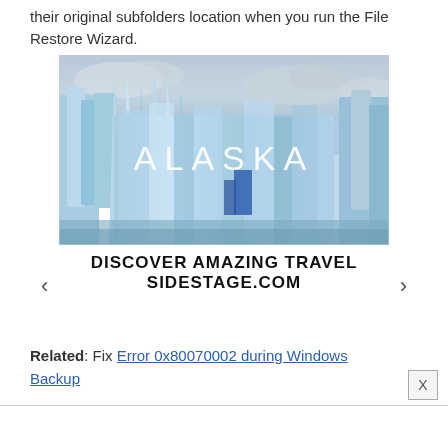their original subfolders location when you run the File Restore Wizard.
[Figure (photo): Advertisement banner showing blue glaciers with white text 'ALASKA' overlaid, with navigation arrows and text 'DISCOVER AMAZING TRAVEL SIDESTAGE.COM']
Related: Fix Error 0x80070002 during Windows Backup